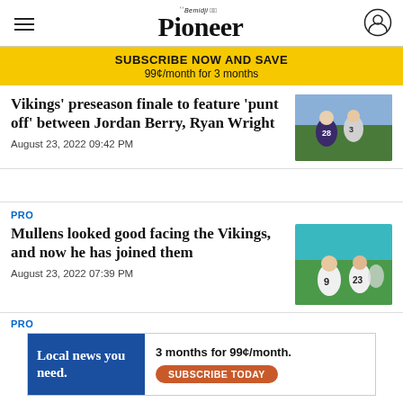The Bemidji Pioneer
SUBSCRIBE NOW AND SAVE
99¢/month for 3 months
Vikings' preseason finale to feature 'punt off' between Jordan Berry, Ryan Wright
August 23, 2022 09:42 PM
PRO
Mullens looked good facing the Vikings, and now he has joined them
August 23, 2022 07:39 PM
PRO
[Figure (infographic): Advertisement: Local news you need. 3 months for 99¢/month. Subscribe Today button.]